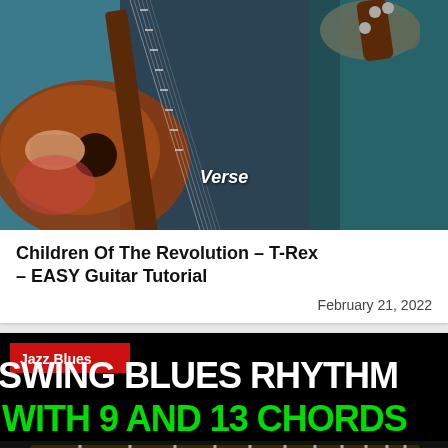[Figure (photo): Close-up photo of a person playing an acoustic guitar, with 'Verse' text overlay at bottom]
Children Of The Revolution – T-Rex – EASY Guitar Tutorial
February 21, 2022
[Figure (photo): Thumbnail image with black background, red 'Jazz Blues' badge, white text 'SWING BLUES RHYTHM' and green text 'WITH 9 AND 13 CHORDS', with a guitar fretboard at the bottom]